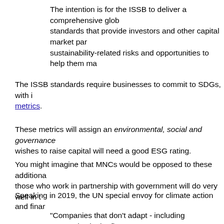The intention is for the ISSB to deliver a comprehensive global standards that provide investors and other capital market participants sustainability-related risks and opportunities to help them make...
The ISSB standards require businesses to commit to SDGs, with indicators and metrics.
These metrics will assign an environmental, social and governance (ESG) rating. Any business that wishes to raise capital will need a good ESG rating.
You might imagine that MNCs would be opposed to these additional regulations. However, those who work in partnership with government will do very well in this new environment.
Speaking in 2019, the UN special envoy for climate action and finance...
"Companies that don't adapt - including companies in the financial sector - will go bankrupt. But there will be great fortunes made along this path aligned with..."
The G3P decrees "what society wants," just as its government assets...
By fostering the working partnership between state and corporations, the G3P ensures that those who are loyal to them and their agenda will prosper, while those...
Responding to Liikänen's announcement, the Chinese Ministry of Finance's authority over business and economy exemplifies the technocracy the G3P has...
The Minister of Finance, Liu Kun, said: